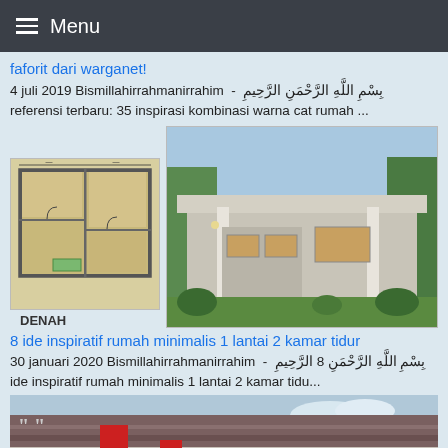Menu
faforit dari warganet!
4 juli 2019 Bismillahirrahmanirrahim  -  بِسْمِ اللَّهِ الرَّحْمَنِ الرَّحِيمِ referensi terbaru: 35 inspirasi kombinasi warna cat rumah ...
[Figure (illustration): Floor plan (DENAH) on the left showing room layout with beige/tan coloring, and a 3D rendering of a minimalist single-story house with gray exterior on the right]
DENAH
8 ide inspiratif rumah minimalis 1 lantai 2 kamar tidur
30 januari 2020 Bismillahirrahmanirrahim  -  بِسْمِ اللَّهِ الرَّحْمَنِ 8 الرَّحِيمِ ide inspiratif rumah minimalis 1 lantai 2 kamar tidu...
[Figure (photo): Partial view of a minimalist house with red pillars and tiled roof]